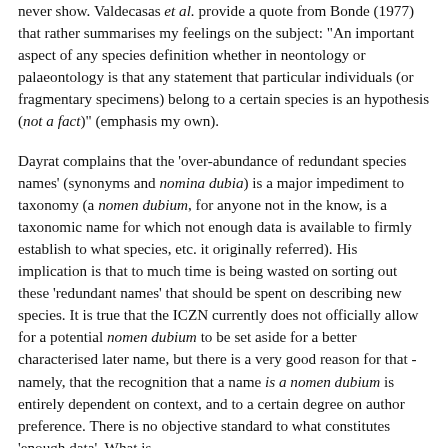never show. Valdecasas et al. provide a quote from Bonde (1977) that rather summarises my feelings on the subject: "An important aspect of any species definition whether in neontology or palaeontology is that any statement that particular individuals (or fragmentary specimens) belong to a certain species is an hypothesis (not a fact)" (emphasis my own).
Dayrat complains that the 'over-abundance of redundant species names' (synonyms and nomina dubia) is a major impediment to taxonomy (a nomen dubium, for anyone not in the know, is a taxonomic name for which not enough data is available to firmly establish to what species, etc. it originally referred). His implication is that to much time is being wasted on sorting out these 'redundant names' that should be spent on describing new species. It is true that the ICZN currently does not officially allow for a potential nomen dubium to be set aside for a better characterised later name, but there is a very good reason for that - namely, that the recognition that a name is a nomen dubium is entirely dependent on context, and to a certain degree on author preference. There is no objective standard to what constitutes 'enough data'. What is